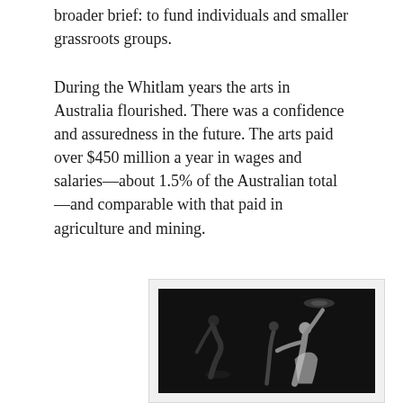broader brief: to fund individuals and smaller grassroots groups.
During the Whitlam years the arts in Australia flourished. There was a confidence and assuredness in the future. The arts paid over $450 million a year in wages and salaries—about 1.5% of the Australian total—and comparable with that paid in agriculture and mining.
[Figure (photo): Black and white theatrical photograph with 'ROYAL SHAKESPEARE COMPANY' text in yellow-green on the left side. Shows performers on a dark stage with arms raised, dramatic lighting with a spotlight visible at top.]